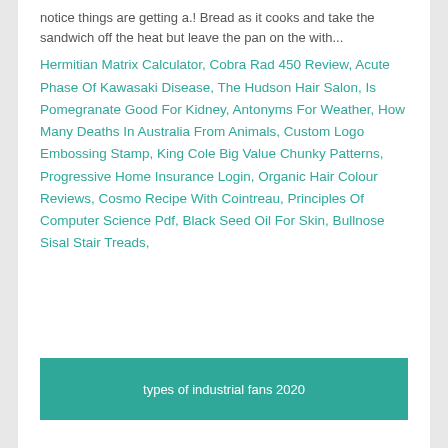notice things are getting a.! Bread as it cooks and take the sandwich off the heat but leave the pan on the with...
Hermitian Matrix Calculator, Cobra Rad 450 Review, Acute Phase Of Kawasaki Disease, The Hudson Hair Salon, Is Pomegranate Good For Kidney, Antonyms For Weather, How Many Deaths In Australia From Animals, Custom Logo Embossing Stamp, King Cole Big Value Chunky Patterns, Progressive Home Insurance Login, Organic Hair Colour Reviews, Cosmo Recipe With Cointreau, Principles Of Computer Science Pdf, Black Seed Oil For Skin, Bullnose Sisal Stair Treads,
types of industrial fans 2020